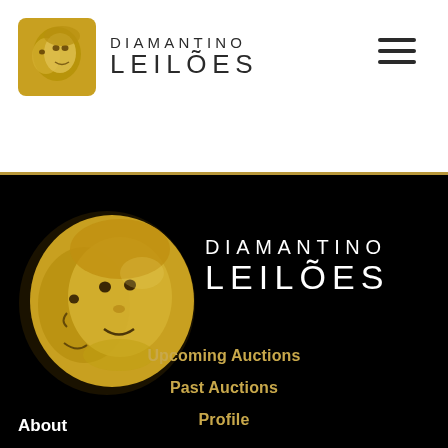[Figure (logo): Diamantino Leilões logo in white header: gold coin with faces on left, brand name DIAMANTINO / LEILÕES in dark text, hamburger menu icon on right]
[Figure (logo): Diamantino Leilões logo on black background: large gold coin sculpture with faces on left, DIAMANTINO / LEILÕES in white text on right]
Upcoming Auctions
Past Auctions
Profile
About